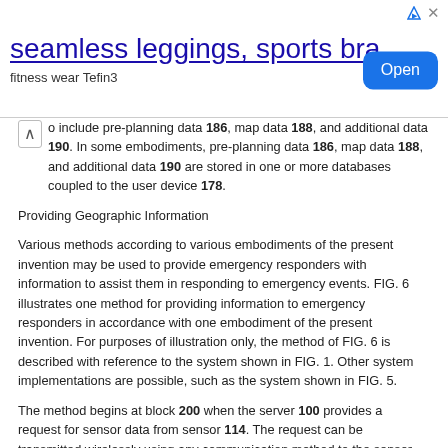[Figure (other): Advertisement banner: seamless leggings, sports bra — fitness wear Tefin3 — with Open button]
to include pre-planning data 186, map data 188, and additional data 190. In some embodiments, pre-planning data 186, map data 188, and additional data 190 are stored in one or more databases coupled to the user device 178.
Providing Geographic Information
Various methods according to various embodiments of the present invention may be used to provide emergency responders with information to assist them in responding to emergency events. FIG. 6 illustrates one method for providing information to emergency responders in accordance with one embodiment of the present invention. For purposes of illustration only, the method of FIG. 6 is described with reference to the system shown in FIG. 1. Other system implementations are possible, such as the system shown in FIG. 5.
The method begins at block 200 when the server 100 provides a request for sensor data from sensor 114. The request can be transmitted wirelessly using any communication method to the sensor 114 and identifies the type of sensor data requested. Sensor data can include real-time or substantially